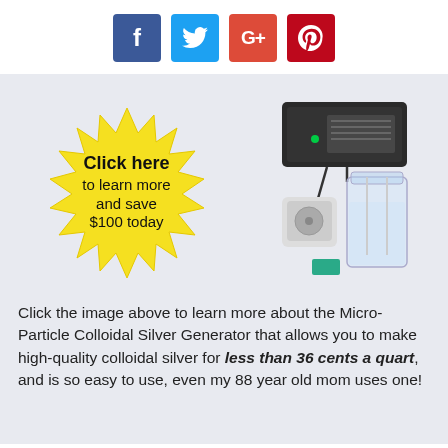[Figure (infographic): Social media share buttons: Facebook (blue), Twitter (light blue), Google+ (red-orange), Pinterest (red)]
[Figure (infographic): Yellow starburst badge with text 'Click here to learn more and save $100 today' next to a photo of a Micro-Particle Colloidal Silver Generator device (black box unit sitting atop a glass jar with cables and a timer)]
Click the image above to learn more about the Micro-Particle Colloidal Silver Generator that allows you to make high-quality colloidal silver for less than 36 cents a quart, and is so easy to use, even my 88 year old mom uses one!